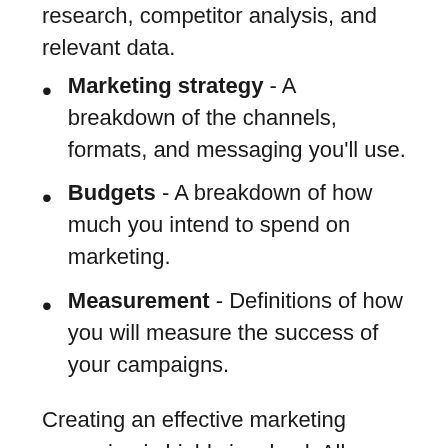research, competitor analysis, and relevant data.
Marketing strategy - A breakdown of the channels, formats, and messaging you'll use.
Budgets - A breakdown of how much you intend to spend on marketing.
Measurement - Definitions of how you will measure the success of your campaigns.
Creating an effective marketing campaign is highly involved. All your action steps will flow directly from your strategic plan, so creating this early in the process is crucial. You can even hire a marketing agency to help you if it